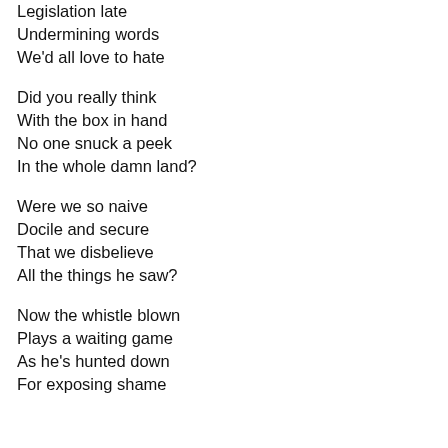Legislation late
Undermining words
We'd all love to hate
Did you really think
With the box in hand
No one snuck a peek
In the whole damn land?
Were we so naive
Docile and secure
That we disbelieve
All the things he saw?
Now the whistle blown
Plays a waiting game
As he's hunted down
For exposing shame